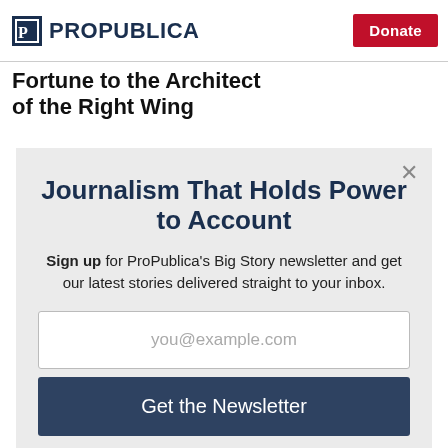ProPublica | Donate
Fortune to the Architect of the Right Wing
Journalism That Holds Power to Account
Sign up for ProPublica's Big Story newsletter and get our latest stories delivered straight to your inbox.
you@example.com
Get the Newsletter
No thanks, I'm all set
This site is protected by reCAPTCHA and the Google Privacy Policy and Terms of Service apply.